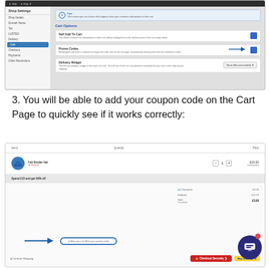[Figure (screenshot): Screenshot of WooCommerce shop settings showing Cart settings panel with sidebar navigation (Shop Settings, Shop Details, Domain Name, Tax, LUSTED, Delivery, Cart highlighted, Checkout, Payments, Other Restrictions), Cart Options section with Self Add To Cart toggle (checked), Promo Codes toggle with arrow pointing to it (checked), and Delivery Widget dropdown.]
3. You will be able to add your coupon code on the Cart Page to quickly see if it works correctly:
[Figure (screenshot): Screenshot of a shopping cart page showing: Items/Quantity/Price header, Felt Bowler Hat item at £15.00, 'Spend £15 and get 50% off' promo bar, summary rows showing Discounts -£2.25, Subtotal £12.75, then Total (Grandtotal) £3.00, an arrow pointing to a coupon code input field, Continue Shopping link, Checkout Securely button, and PayPal button, plus a chat widget.]